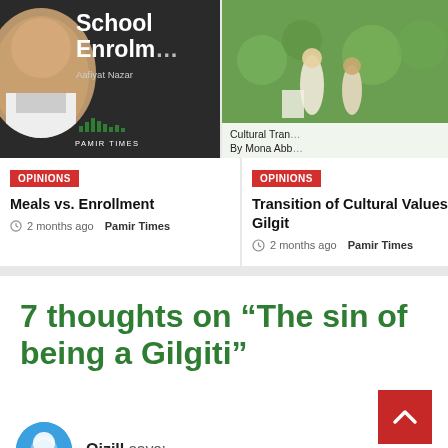[Figure (photo): Book cover with dark background showing 'School Enrolm...' title by Aafiyat Nazar with Pamir Times logo and a person's face]
[Figure (photo): Image of people on green grass, with overlay text 'Cultural Tran... By Mona Abb...']
OPINIONS
Meals vs. Enrollment
2 months ago  Pamir Times
OPINIONS
Transition of Cultural Values in Gilgit
2 months ago  Pamir Times
7 thoughts on “The sin of being a Gilgiti”
Qizill says: